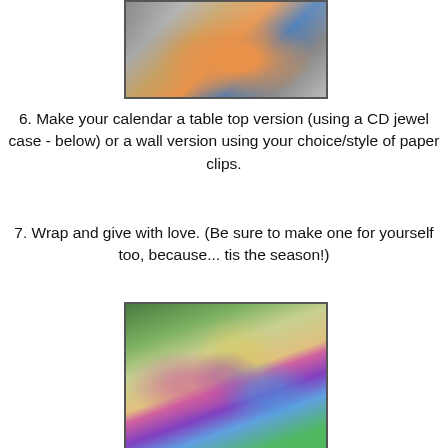[Figure (photo): Photo of people posing with a Disney Goofy character at what appears to be a Disney theme park, with a 2015 calendar visible]
6. Make your calendar a table top version (using a CD jewel case - below) or a wall version using your choice/style of paper clips.
7. Wrap and give with love. (Be sure to make one for yourself too, because... tis the season!)
[Figure (photo): Photo of a Disney calendar displayed in a CD jewel case tabletop holder, showing colorful Mickey Mouse balloon figures against a green outdoor background]